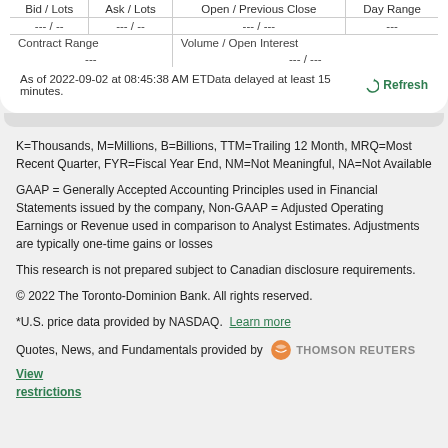| Bid / Lots | Ask / Lots | Open / Previous Close | Day Range |
| --- | --- | --- | --- |
| --- / -- | --- / -- | --- / --- | --- |
| Contract Range | Volume / Open Interest |  |  |
| --- | --- / --- |  |  |
As of 2022-09-02 at 08:45:38 AM ETData delayed at least 15 minutes.
K=Thousands, M=Millions, B=Billions, TTM=Trailing 12 Month, MRQ=Most Recent Quarter, FYR=Fiscal Year End, NM=Not Meaningful, NA=Not Available
GAAP = Generally Accepted Accounting Principles used in Financial Statements issued by the company, Non-GAAP = Adjusted Operating Earnings or Revenue used in comparison to Analyst Estimates. Adjustments are typically one-time gains or losses
This research is not prepared subject to Canadian disclosure requirements.
© 2022 The Toronto-Dominion Bank. All rights reserved.
*U.S. price data provided by NASDAQ.  Learn more
Quotes, News, and Fundamentals provided by  THOMSON REUTERS  View restrictions